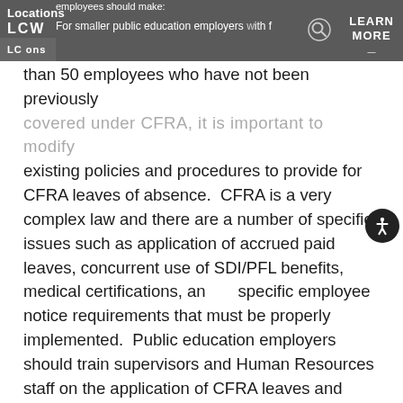Locations Connect | LCW | LEARN MORE
employees should make:

For smaller public education employers with fewer than 50 employees who have not been previously covered under CFRA, it is important to modify existing policies and procedures to provide for CFRA leaves of absence. CFRA is a very complex law and there are a number of specific issues such as application of accrued paid leaves, concurrent use of SDI/PFL benefits, medical certifications, and specific employee notice requirements that must be properly implemented. Public education employers should train supervisors and Human Resources staff on the application of CFRA leaves and applicable forms and procedures should be implemented so the public education employer is prepared to provide CFRA leaves to qualified employees upon the implementation of this new law.